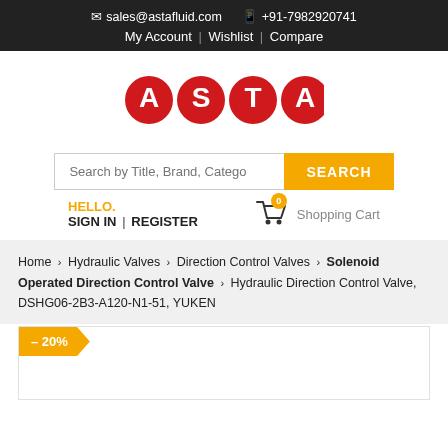✉ sales@astafluid.com  📱 +91-7982920741
My Account | Wishlist | Compare
[Figure (logo): ASTA logo — four red circles each containing a white letter A, S, T, A]
Search by Title, Brand, Category...  SEARCH
HELLO.
SIGN IN | REGISTER   🛒 0  Shopping Cart
Home > Hydraulic Valves > Direction Control Valves > Solenoid Operated Direction Control Valve > Hydraulic Direction Control Valve, DSHG06-2B3-A120-N1-51, YUKEN
– 20%